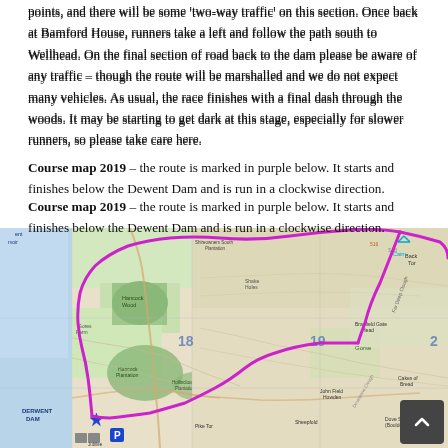points, and there will be some 'two-way traffic' on this section. Once back at Bamford House, runners take a left and follow the path south to Wellhead. On the final section of road back to the dam please be aware of any traffic – though the route will be marshalled and we do not expect many vehicles. As usual, the race finishes with a final dash through the woods. It may be starting to get dark at this stage, especially for slower runners, so please take care here.
Course map 2019 – the route is marked in purple below. It starts and finishes below the Dewent Dam and is run in a clockwise direction.
[Figure (map): Ordnance Survey style topographic map showing the 2019 course route marked in purple/magenta, starting and finishing below Derwent Dam, running in a clockwise direction through the Peak District. Features landmarks including Derwent Dam, Bamford House, Hancock Wood, Hancock Plantation, Hollinclough Plantation, Millbrook Plantation, Green Sitches, Bradfield Gate Head, Cakes of Bread, Dovestone Tor, John Field Howden, Sheepfold, Pike Tor, Gorse areas, and grid numbers 18, 19, 2. A blue star marks the dam start/finish. A parking marker and toilet facilities shown at bottom left.]